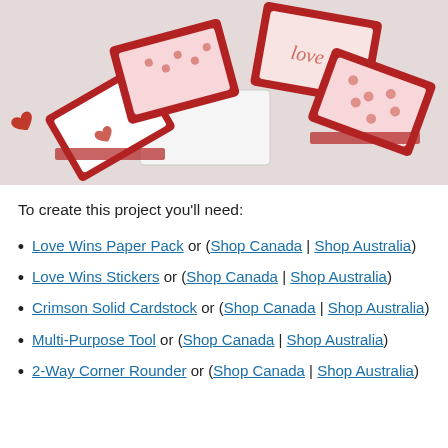[Figure (photo): Red and white handmade craft boxes decorated with hearts, dots, and love-themed patterns, arranged in and around a white box on a light background.]
To create this project you'll need:
Love Wins Paper Pack or (Shop Canada | Shop Australia)
Love Wins Stickers or (Shop Canada | Shop Australia)
Crimson Solid Cardstock or (Shop Canada | Shop Australia)
Multi-Purpose Tool or (Shop Canada | Shop Australia)
2-Way Corner Rounder or (Shop Canada | Shop Australia)